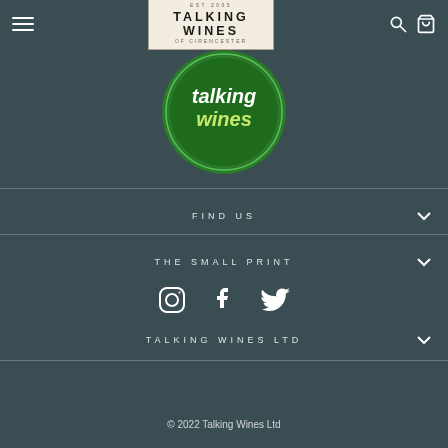[Figure (logo): Talking Wines of Cirencester navigation header logo in beige/cream box with serif text]
[Figure (logo): Talking Wines circular green logo with white script text]
FIND US
THE SMALL PRINT
[Figure (other): Social media icons: Instagram, Facebook, Twitter]
TALKING WINES LTD
© 2022 Talking Wines Ltd